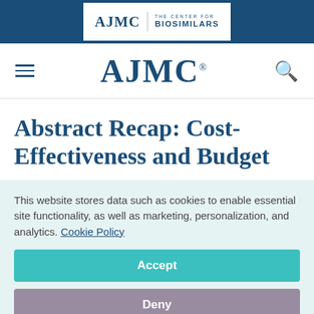AJMC | THE CENTER FOR BIOSIMILARS
[Figure (logo): AJMC logo navigation bar with hamburger menu and search icon]
Abstract Recap: Cost-Effectiveness and Budget
This website stores data such as cookies to enable essential site functionality, as well as marketing, personalization, and analytics. Cookie Policy
Accept
Deny